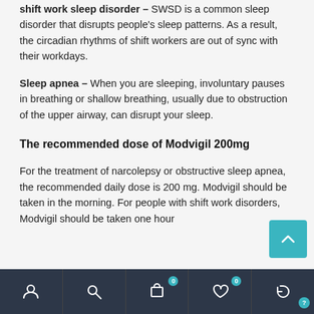shift work sleep disorder – SWSD is a common sleep disorder that disrupts people's sleep patterns. As a result, the circadian rhythms of shift workers are out of sync with their workdays.
Sleep apnea – When you are sleeping, involuntary pauses in breathing or shallow breathing, usually due to obstruction of the upper airway, can disrupt your sleep.
The recommended dose of Modvigil 200mg
For the treatment of narcolepsy or obstructive sleep apnea, the recommended daily dose is 200 mg. Modvigil should be taken in the morning. For people with shift work disorders, Modvigil should be taken one hour